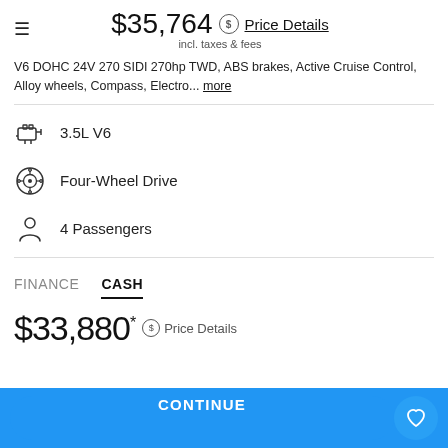$35,764 incl. taxes & fees — Price Details
V6 DOHC 24V 270 SIDI 270hp TWD, ABS brakes, Active Cruise Control, Alloy wheels, Compass, Electro... more
3.5L V6
Four-Wheel Drive
4 Passengers
FINANCE    CASH
$33,880* Price Details
CONTINUE